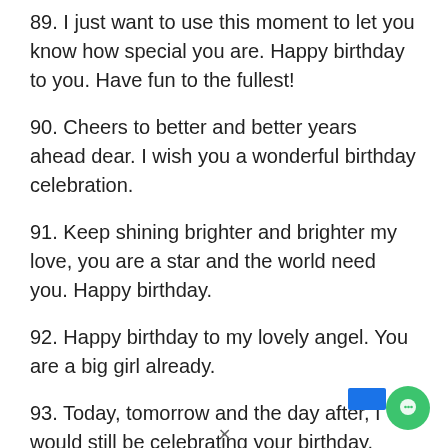89. I just want to use this moment to let you know how special you are. Happy birthday to you. Have fun to the fullest!
90. Cheers to better and better years ahead dear. I wish you a wonderful birthday celebration.
91. Keep shining brighter and brighter my love, you are a star and the world need you. Happy birthday.
92. Happy birthday to my lovely angel. You are a big girl already.
93. Today, tomorrow and the day after, I would still be celebrating your birthday. Happy birthd…